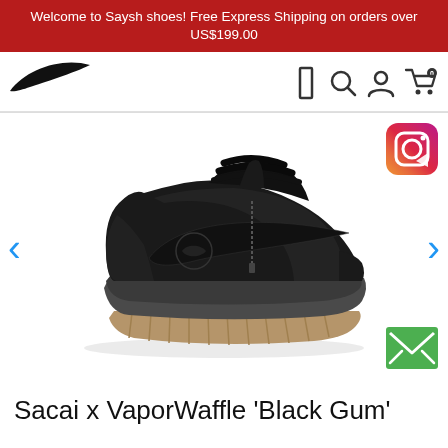Welcome to Saysh shoes! Free Express Shipping on orders over US$199.00
[Figure (logo): Nike swoosh logo in black]
[Figure (photo): Black Nike Sacai x VaporWaffle sneaker with gum sole, side view on white background]
Sacai x VaporWaffle 'Black Gum'